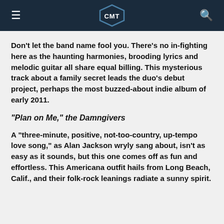CMT
Don't let the band name fool you. There's no in-fighting here as the haunting harmonies, brooding lyrics and melodic guitar all share equal billing. This mysterious track about a family secret leads the duo's debut project, perhaps the most buzzed-about indie album of early 2011.
"Plan on Me," the Damngivers
A "three-minute, positive, not-too-country, up-tempo love song," as Alan Jackson wryly sang about, isn't as easy as it sounds, but this one comes off as fun and effortless. This Americana outfit hails from Long Beach, Calif., and their folk-rock leanings radiate a sunny spirit.